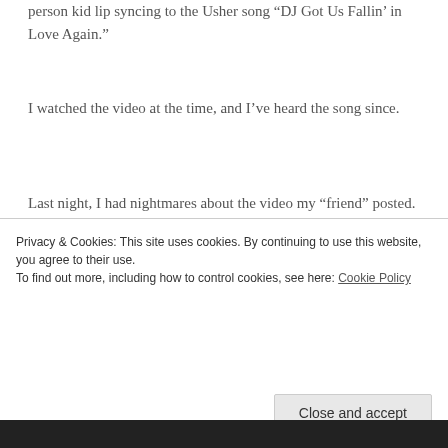person kid lip syncing to the Usher song “DJ Got Us Fallin’ in Love Again.”
I watched the video at the time, and I’ve heard the song since.
Last night, I had nightmares about the video my “friend” posted. And now I want you to have nightmares. I’m posting this mother fucker.
Watch it! If you don’t have nightmares in seven days, consider it a … miracle!
Privacy & Cookies: This site uses cookies. By continuing to use this website, you agree to their use.
To find out more, including how to control cookies, see here: Cookie Policy
Close and accept